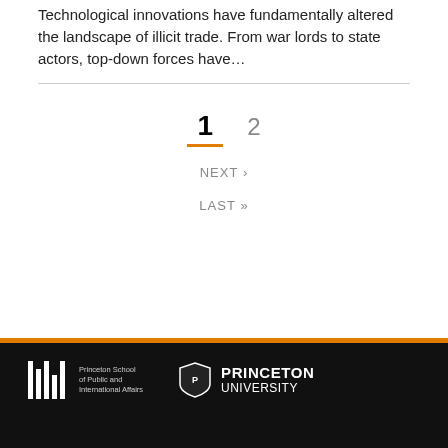Technological innovations have fundamentally altered the landscape of illicit trade. From war lords to state actors, top-down forces have...
1  2
NEXT ›
LAST »
[Figure (logo): Princeton School of Public and International Affairs logo with vertical column marks and text]
[Figure (logo): Princeton University shield logo with PRINCETON UNIVERSITY text]